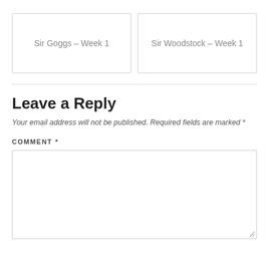Sir Goggs – Week 1
Sir Woodstock – Week 1
Leave a Reply
Your email address will not be published. Required fields are marked *
COMMENT *